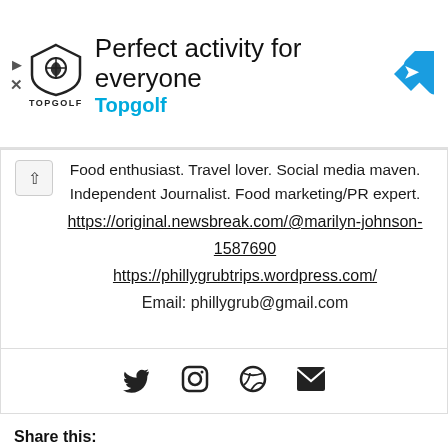[Figure (other): Topgolf advertisement banner with shield logo, headline 'Perfect activity for everyone', subheadline 'Topgolf', and blue navigation arrow icon]
Food enthusiast. Travel lover. Social media maven. Independent Journalist. Food marketing/PR expert.
https://original.newsbreak.com/@marilyn-johnson-1587690
https://phillygrubtrips.wordpress.com/
Email: phillygrub@gmail.com
[Figure (other): Social media icons: Twitter bird, Instagram camera, Dribbble ball, envelope/email]
Share this:
Tweet  Save  Post  WhatsApp  Email  Print
Related
EVENT: Philadelphia's Top